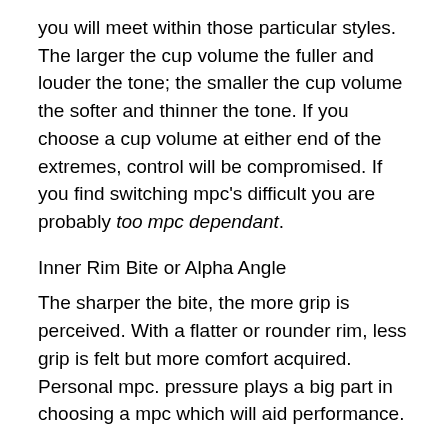you will meet within those particular styles. The larger the cup volume the fuller and louder the tone; the smaller the cup volume the softer and thinner the tone. If you choose a cup volume at either end of the extremes, control will be compromised. If you find switching mpc's difficult you are probably too mpc dependant.
Inner Rim Bite or Alpha Angle
The sharper the bite, the more grip is perceived. With a flatter or rounder rim, less grip is felt but more comfort acquired. Personal mpc. pressure plays a big part in choosing a mpc which will aid performance.
Backbore
The backbore volume and shape can affect pitch greatly. The backbore has several tapers, an initial and an